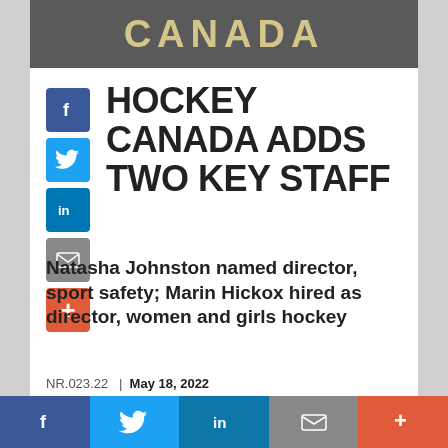[Figure (photo): Hockey Canada sign/logo banner in background, dark grey tones with golden lettering showing 'CANADA']
HOCKEY CANADA ADDS TWO KEY STAFF
Natasha Johnston named director, sport safety; Marin Hickox hired as director, women and girls hockey
NR.023.22 | May 18, 2022
Favourite (30)